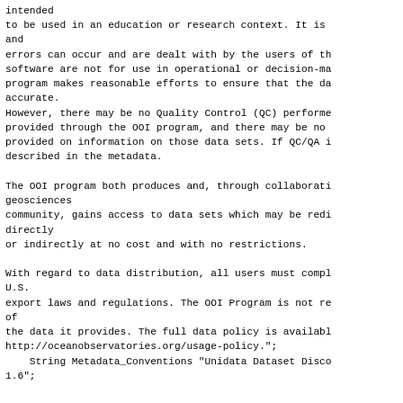intended
to be used in an education or research context. It is
and
errors can occur and are dealt with by the users of th
software are not for use in operational or decision-ma
program makes reasonable efforts to ensure that the da
accurate.
However, there may be no Quality Control (QC) performe
provided through the OOI program, and there may be no
provided on information on those data sets. If QC/QA i
described in the metadata.

The OOI program both produces and, through collaborati
geosciences
community, gains access to data sets which may be redi
directly
or indirectly at no cost and with no restrictions.

With regard to data distribution, all users must compl
U.S.
export laws and regulations. The OOI Program is not re
of
the data it provides. The full data policy is availabl
http://oceanobservatories.org/usage-policy.";
    String Metadata_Conventions "Unidata Dataset Disco
1.6";